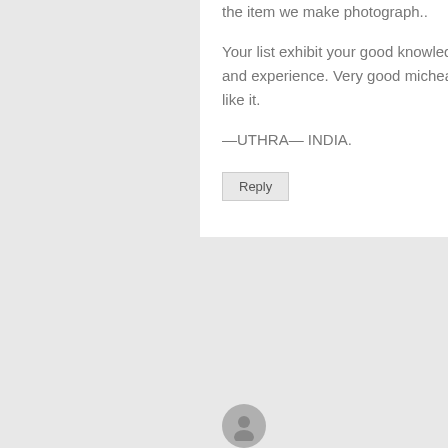the item we make photograph..
Your list exhibit your good knowledge and experience. Very good micheal. I like it.
—UTHRA— INDIA.
Reply
[Figure (illustration): User avatar circle placeholder at bottom of page]